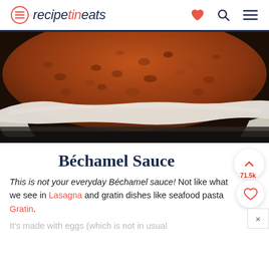recipetineats
[Figure (photo): Close-up photo of a bolognese or meat sauce cooking in a white enameled cast iron pan on a stovetop, showing browned ground meat in a rich tomato sauce]
Béchamel Sauce
This is not your everyday Béchamel sauce! Not like what we see in Lasagna and gratin dishes like seafood pasta Gratin.
It's made with eggs (which is not in usual